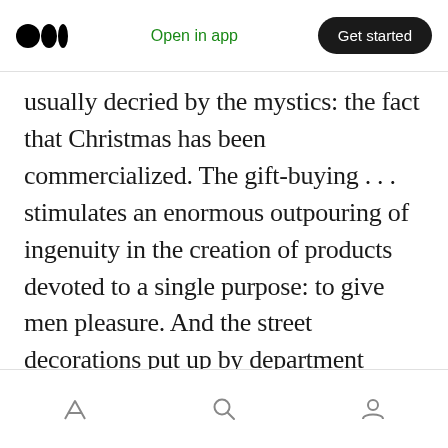Open in app | Get started
usually decried by the mystics: the fact that Christmas has been commercialized. The gift-buying . . . stimulates an enormous outpouring of ingenuity in the creation of products devoted to a single purpose: to give men pleasure. And the street decorations put up by department stores and other institutions — the Christmas trees, the winking lights, the glittering colors — provide the city with a spectacular display, which only “commercial greed” could afford to give us. One would have to be terribly depressed to resist the wonderful gaiety of that spectacle.